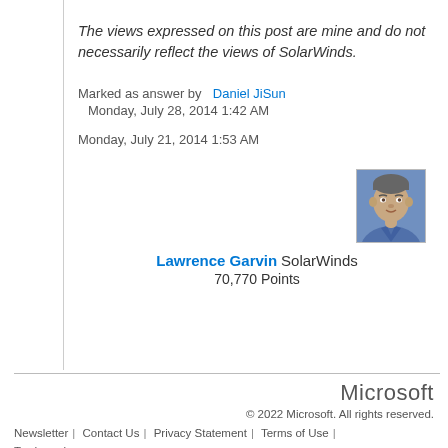The views expressed on this post are mine and do not necessarily reflect the views of SolarWinds.
Marked as answer by  Daniel JiSun
Monday, July 28, 2014 1:42 AM
Monday, July 21, 2014 1:53 AM
[Figure (photo): Profile photo of Lawrence Garvin]
Lawrence Garvin SolarWinds
70,770 Points
Microsoft
© 2022 Microsoft. All rights reserved.
Newsletter | Contact Us | Privacy Statement | Terms of Use | Trademarks